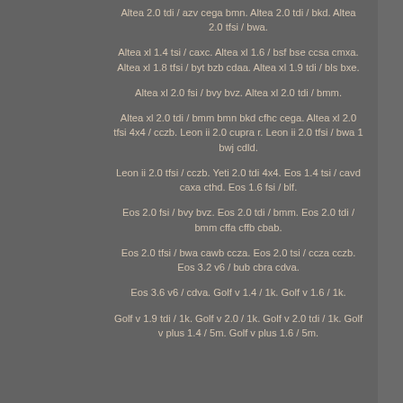Altea 2.0 tdi / azv cega bmn. Altea 2.0 tdi / bkd. Altea 2.0 tfsi / bwa.
Altea xl 1.4 tsi / caxc. Altea xl 1.6 / bsf bse ccsa cmxa. Altea xl 1.8 tfsi / byt bzb cdaa. Altea xl 1.9 tdi / bls bxe.
Altea xl 2.0 fsi / bvy bvz. Altea xl 2.0 tdi / bmm.
Altea xl 2.0 tdi / bmm bmn bkd cfhc cega. Altea xl 2.0 tfsi 4x4 / cczb. Leon ii 2.0 cupra r. Leon ii 2.0 tfsi / bwa 1 bwj cdld.
Leon ii 2.0 tfsi / cczb. Yeti 2.0 tdi 4x4. Eos 1.4 tsi / cavd caxa cthd. Eos 1.6 fsi / blf.
Eos 2.0 fsi / bvy bvz. Eos 2.0 tdi / bmm. Eos 2.0 tdi / bmm cffa cffb cbab.
Eos 2.0 tfsi / bwa cawb ccza. Eos 2.0 tsi / ccza cczb. Eos 3.2 v6 / bub cbra cdva.
Eos 3.6 v6 / cdva. Golf v 1.4 / 1k. Golf v 1.6 / 1k.
Golf v 1.9 tdi / 1k. Golf v 2.0 / 1k. Golf v 2.0 tdi / 1k. Golf v plus 1.4 / 5m. Golf v plus 1.6 / 5m.